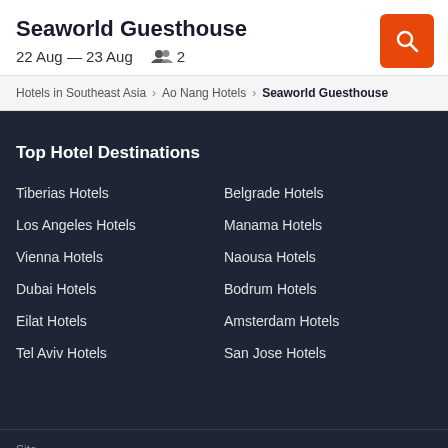Seaworld Guesthouse
22 Aug — 23 Aug  👥 2
Hotels in Southeast Asia > Ao Nang Hotels > Seaworld Guesthouse
Top Hotel Destinations
Tiberias Hotels
Belgrade Hotels
Los Angeles Hotels
Manama Hotels
Vienna Hotels
Naousa Hotels
Dubai Hotels
Bodrum Hotels
Eilat Hotels
Amsterdam Hotels
Tel Aviv Hotels
San Jose Hotels
Site